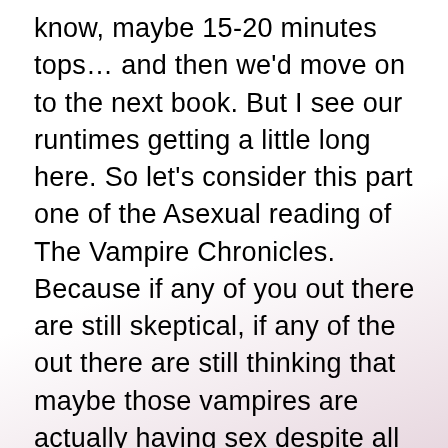know, maybe 15-20 minutes tops… and then we'd move on to the next book. But I see our runtimes getting a little long here. So let's consider this part one of the Asexual reading of The Vampire Chronicles. Because if any of you out there are still skeptical, if any of the out there are still thinking that maybe those vampires are actually having sex despite all the evidence I've presented at this point… stick around! Maybe you'll be surprised with what we have to unearth. Bye now.